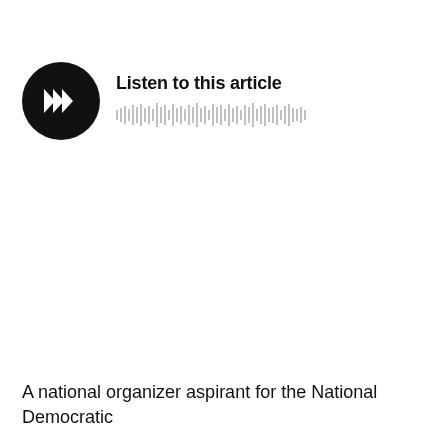[Figure (other): Audio player widget: black circular play button with white triangular play icon (stacked triple chevrons), next to text 'Listen to this article' and a waveform/audio progress bar in light gray below the text.]
A national organizer aspirant for the National Democratic